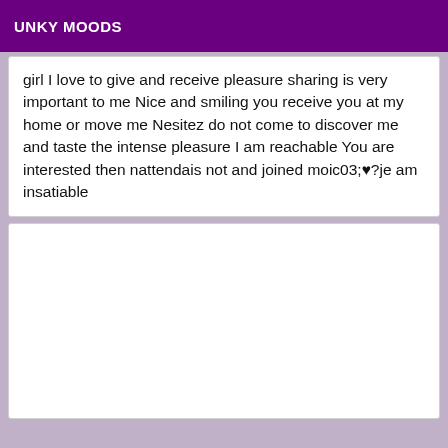UNKY MOODS
girl I love to give and receive pleasure sharing is very important to me Nice and smiling you receive you at my home or move me Nesitez do not come to discover me and taste the intense pleasure I am reachable You are interested then nattendais not and joined moic03;♥?je am insatiable